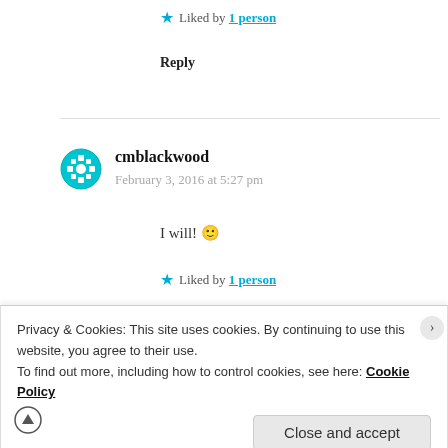★ Liked by 1 person
Reply
cmblackwood
February 3, 2016 at 5:27 pm
I will! 🙂
★ Liked by 1 person
Privacy & Cookies: This site uses cookies. By continuing to use this website, you agree to their use.
To find out more, including how to control cookies, see here: Cookie Policy